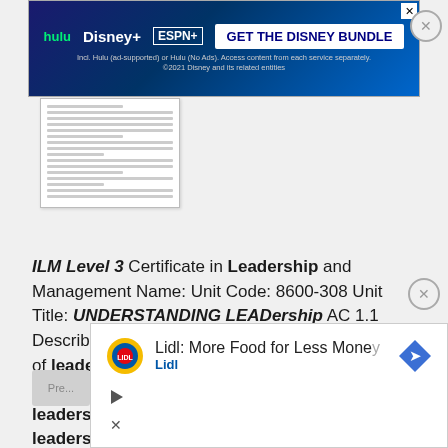[Figure (screenshot): Disney Bundle advertisement banner with Hulu, Disney+, ESPN+ logos and 'GET THE DISNEY BUNDLE' call to action]
[Figure (screenshot): Thumbnail preview of a document page with text lines]
ILM Level 3 Certificate in Leadership and Management Name: Unit Code: 8600-308 Unit Title: UNDERSTANDING LEADership AC 1.1 Describe the factors that will influence the choice of leadership styles or behaviours in the work place AC 1.1 Autocratic Leader Autocratic leadership, also known as authoritarian leadership is a leadership style characterized by individual control over all decisions and little input from
[Figure (screenshot): Lidl advertisement: 'Lidl: More Food for Less Money' with Lidl logo and navigation arrow]
[Figure (other): Previous button (grayed out)]